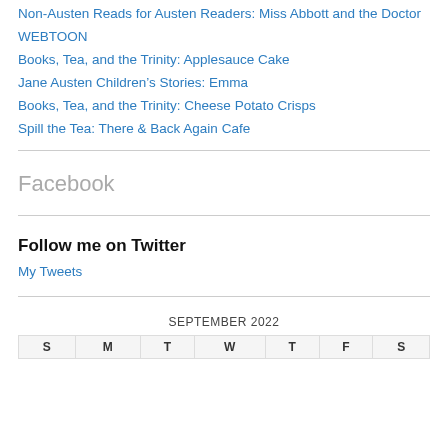Non-Austen Reads for Austen Readers: Miss Abbott and the Doctor
WEBTOON
Books, Tea, and the Trinity: Applesauce Cake
Jane Austen Children's Stories: Emma
Books, Tea, and the Trinity: Cheese Potato Crisps
Spill the Tea: There & Back Again Cafe
Facebook
Follow me on Twitter
My Tweets
| S | M | T | W | T | F | S |
| --- | --- | --- | --- | --- | --- | --- |